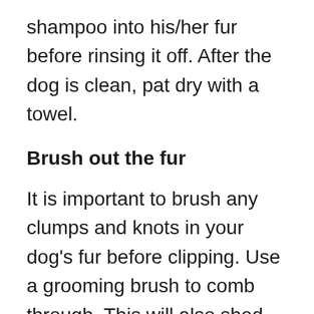shampoo into his/her fur before rinsing it off. After the dog is clean, pat dry with a towel.
Brush out the fur
It is important to brush any clumps and knots in your dog's fur before clipping. Use a grooming brush to comb through. This will also shed hair and leave only good ones.
Check the direction of the fur growth to